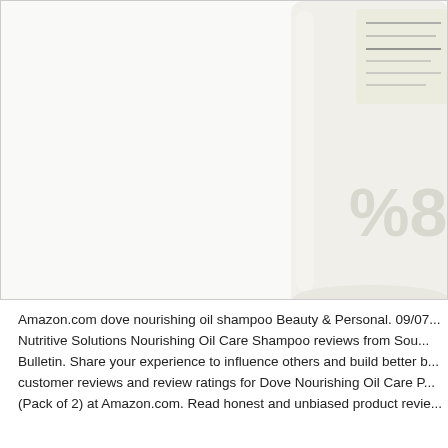[Figure (photo): Partial view of a white shampoo bottle (Dove Nourishing Oil Care) against a white background, showing the right side of the bottle with some label text partially visible. The bottle is cropped, showing only the upper right portion.]
Amazon.com dove nourishing oil shampoo Beauty & Personal. 09/07... Nutritive Solutions Nourishing Oil Care Shampoo reviews from Sou... Bulletin. Share your experience to influence others and build better b... customer reviews and review ratings for Dove Nourishing Oil Care P... (Pack of 2) at Amazon.com. Read honest and unbiased product revie...